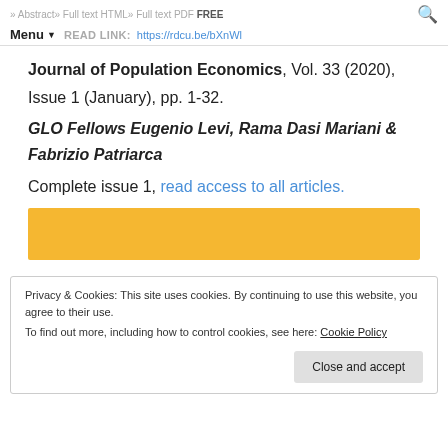» Abstract » Full text HTML » Full text PDF FREE
Menu READ LINK: https://rdcu.be/bXnWl
Journal of Population Economics, Vol. 33 (2020), Issue 1 (January), pp. 1-32.
GLO Fellows Eugenio Levi, Rama Dasi Mariani & Fabrizio Patriarca
Complete issue 1, read access to all articles.
[Figure (other): Yellow/gold horizontal banner bar]
Privacy & Cookies: This site uses cookies. By continuing to use this website, you agree to their use.
To find out more, including how to control cookies, see here: Cookie Policy
Close and accept